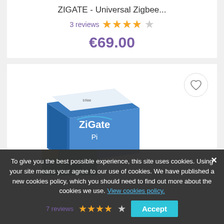ZIGATE - Universal Zigbee...
3 reviews ★★★★☆
€69.00
[Figure (photo): ZiGate Pi product box with Zigbee circuit board partially visible in front, blue packaging with white ZiGate Pi logo]
To give you the best possible experience, this site uses cookies. Using your site means your agree to our use of cookies. We have published a new cookies policy, which you should need to find out more about the cookies we use. View cookies policy.
7 reviews ★★★★☆
Accept